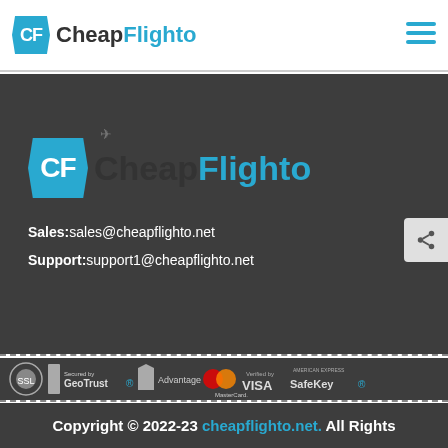CheapFlighto
Twitter
[Figure (logo): CheapFlighto logo with cyan CF hexagon badge and brand name in dark/cyan]
Sales: sales@cheapflighto.net
Support: support1@cheapflighto.net
[Figure (infographic): Row of payment/security logos: SSL seal, Secured by GeoTrust, Advantage by Amway, MasterCard SecureCode, Verified by VISA, American Express SafeKey]
Copyright © 2022-23 cheapflighto.net. All Rights Reserved.